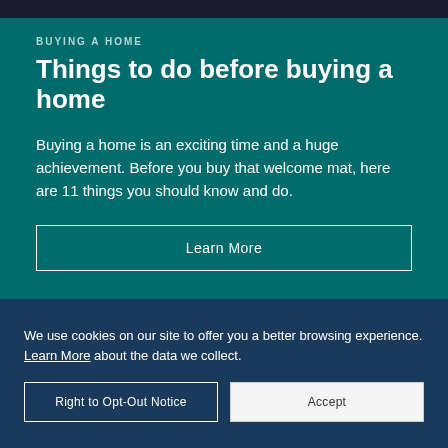[Figure (photo): Dark photo strip at top of page showing partial home/hands image]
BUYING A HOME
Things to do before buying a home
Buying a home is an exciting time and a huge achievement. Before you buy that welcome mat, here are 11 things you should know and do.
Learn More
We use cookies on our site to offer you a better browsing experience. Learn More about the data we collect.
Right to Opt-Out Notice
Accept